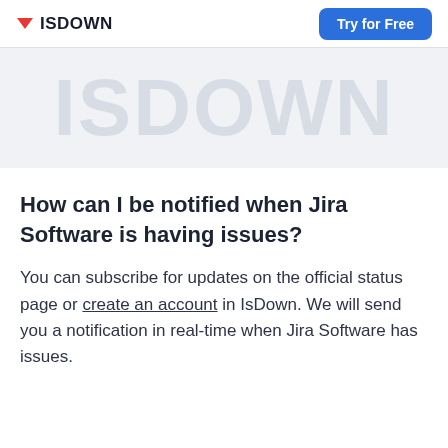ISDOWN | Try for Free
[Figure (other): Large faded watermark-style text reading ISDOWN in light gray on a light gray background, serving as a decorative banner]
How can I be notified when Jira Software is having issues?
You can subscribe for updates on the official status page or create an account in IsDown. We will send you a notification in real-time when Jira Software has issues.